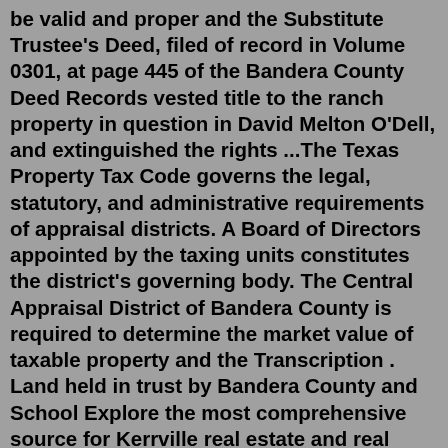be valid and proper and the Substitute Trustee's Deed, filed of record in Volume 0301, at page 445 of the Bandera County Deed Records vested title to the ranch property in question in David Melton O'Dell, and extinguished the rights ...The Texas Property Tax Code governs the legal, statutory, and administrative requirements of appraisal districts. A Board of Directors appointed by the taxing units constitutes the district's governing body. The Central Appraisal District of Bandera County is required to determine the market value of taxable property and the Transcription . Land held in trust by Bandera County and School Explore the most comprehensive source for Kerrville real estate and real estate in the Texas Hill Country area. Search the Kerrville MLS (Multiple Listing Service), find Kerrville area information, and more.Fore Premier Properties is a full service real estate firm specializing in the marketing and sale of fine homes in the Texas Hill Country and Kerrville, as well as selected